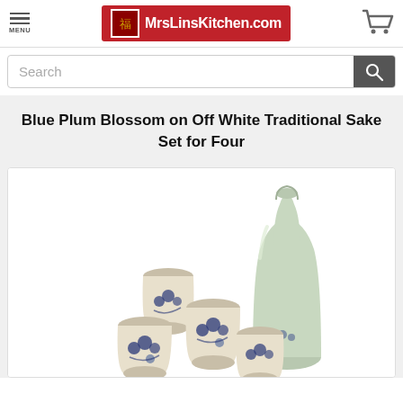MENU | MrsLinsKitchen.com | cart
Search
Blue Plum Blossom on Off White Traditional Sake Set for Four
[Figure (photo): Photo of a traditional Japanese sake set consisting of a tall off-white/celadon sake bottle (tokkuri) and four small ceramic cups decorated with blue plum blossom patterns on an off-white background.]